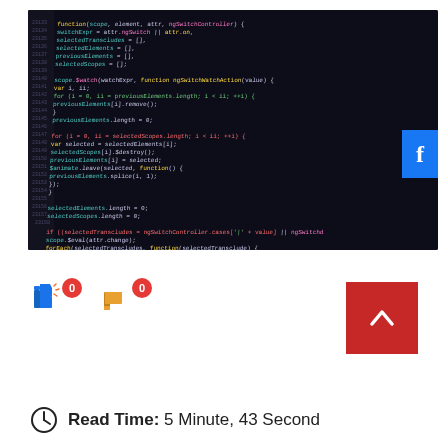[Figure (screenshot): Screenshot of code editor showing JavaScript code with syntax highlighting on dark background. A Facebook share button (blue) is visible on the right edge.]
[Figure (infographic): Thumbs up icon with red badge showing 0, and thumbs down icon with red badge showing 0, representing like/dislike vote counts.]
[Figure (other): Red square button with white upward chevron arrow for scroll-to-top.]
Read Time: 5 Minute, 43 Second